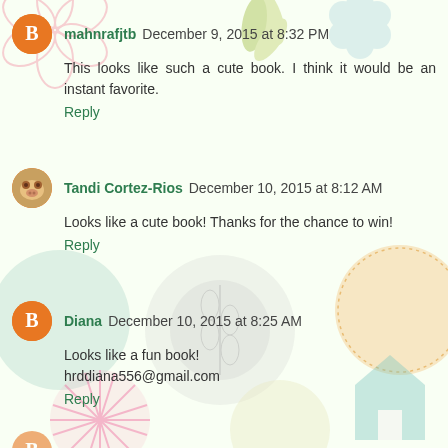mahnrafjtb December 9, 2015 at 8:32 PM
This looks like such a cute book. I think it would be an instant favorite.
Reply
Tandi Cortez-Rios December 10, 2015 at 8:12 AM
Looks like a cute book! Thanks for the chance to win!
Reply
Diana December 10, 2015 at 8:25 AM
Looks like a fun book!
hrddiana556@gmail.com
Reply